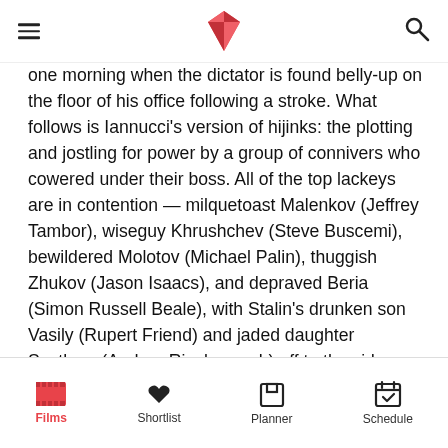[hamburger menu] [logo] [search icon]
one morning when the dictator is found belly-up on the floor of his office following a stroke. What follows is Iannucci's version of hijinks: the plotting and jostling for power by a group of connivers who cowered under their boss. All of the top lackeys are in contention — milquetoast Malenkov (Jeffrey Tambor), wiseguy Khrushchev (Steve Buscemi), bewildered Molotov (Michael Palin), thuggish Zhukov (Jason Isaacs), and depraved Beria (Simon Russell Beale), with Stalin's drunken son Vasily (Rupert Friend) and jaded daughter Svetlana (Andrea Riseborough) off to the side. They move with the clumsiness of aspirants not up to the job but desperate for it anyway.
Films  Shortlist  Planner  Schedule